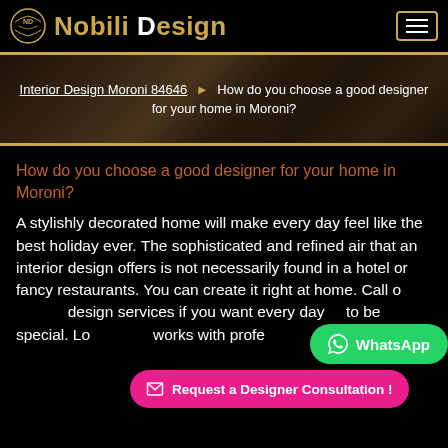Nobili Design
[Figure (screenshot): Hero banner with interior design background image showing breadcrumb navigation: Interior Design Moroni 84646 > How do you choose a good designer for your home in Moroni?]
How do you choose a good designer for your home in Moroni?
A stylishly decorated home will make every day feel like the best holiday ever. The sophisticated and refined air that an interior design offers is not necessarily found in a hotel or fancy restaurants. You can create it right at home. Call our interior design services if you want every day to be special. Lo... works with professionalism and passion. Choose the best interior for your home. Below you can find a...
WhatsApp
Request a Designer Consultation !